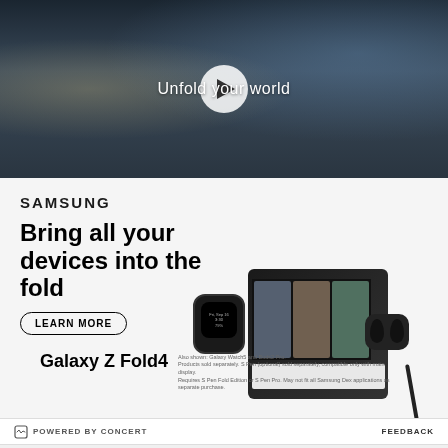[Figure (screenshot): Video thumbnail showing a young man walking in a school cafeteria setting with a play button overlay and text 'Unfold your world']
[Figure (photo): Samsung Galaxy Z Fold4 advertisement showing the foldable phone open with video call, alongside Galaxy Watch5 and Galaxy Buds2 Pro]
SAMSUNG
Bring all your devices into the fold
LEARN MORE
Galaxy Z Fold4
Also shown: Galaxy Watch5 and Buds2 Pro. Products sold separately. S Pen (optional) sold separately, compatible only with main display. Requires S Pen Fold Edition or S Pen Pro. May not fit all Samsung Dex applications as separate purchase.
POWERED BY CONCERT    FEEDBACK